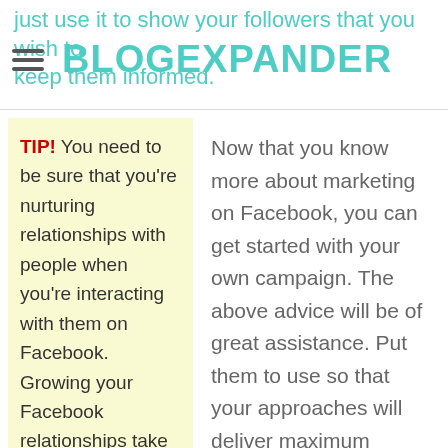just use it to show your followers that you wish to keep them informed. BLOGEXPANDER
TIP! You need to be sure that you're nurturing relationships with people when you're interacting with them on Facebook. Growing your Facebook relationships take the same time and effort as real world
Now that you know more about marketing on Facebook, you can get started with your own campaign. The above advice will be of great assistance. Put them to use so that your approaches will deliver maximum benefits.